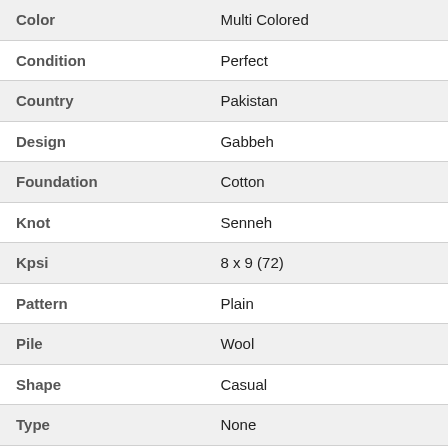| Attribute | Value |
| --- | --- |
| Color | Multi Colored |
| Condition | Perfect |
| Country | Pakistan |
| Design | Gabbeh |
| Foundation | Cotton |
| Knot | Senneh |
| Kpsi | 8 x 9 (72) |
| Pattern | Plain |
| Pile | Wool |
| Shape | Casual |
| Type | None |